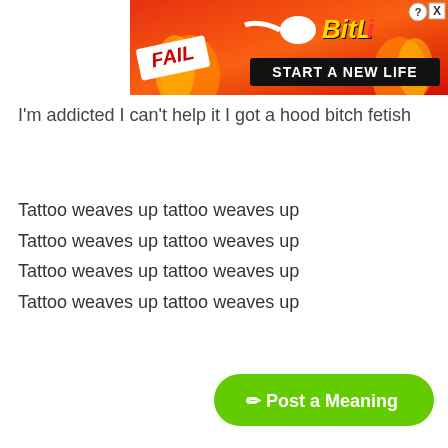[Figure (screenshot): BitLife advertisement banner with red/orange flame background, 'FAIL' text, cartoon character, sperm logo, 'BitLi' branding, and 'START A NEW LIFE' button]
I'm addicted I can't help it I got a hood bitch fetish
Tattoo weaves up tattoo weaves up
Tattoo weaves up tattoo weaves up
Tattoo weaves up tattoo weaves up
Tattoo weaves up tattoo weaves up
[Figure (screenshot): Green 'Post a Meaning' button with pencil icon in bottom right corner]